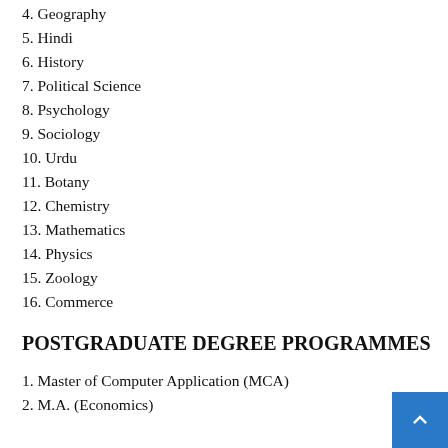4. Geography
5. Hindi
6. History
7. Political Science
8. Psychology
9. Sociology
10. Urdu
11. Botany
12. Chemistry
13. Mathematics
14. Physics
15. Zoology
16. Commerce
POSTGRADUATE DEGREE PROGRAMMES
1. Master of Computer Application (MCA)
2. M.A. (Economics)